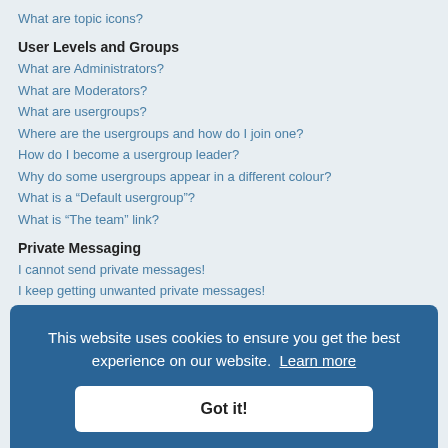What are topic icons?
User Levels and Groups
What are Administrators?
What are Moderators?
What are usergroups?
Where are the usergroups and how do I join one?
How do I become a usergroup leader?
Why do some usergroups appear in a different colour?
What is a “Default usergroup”?
What is “The team” link?
Private Messaging
I cannot send private messages!
I keep getting unwanted private messages!
I have received a spamming or abusive email from someone on this board!
Friends and Foes
What are my Friends and Foes lists?
How can I add / remove users to my Friends or Foes list?
Searching the Forums
How can I search a forum or forums?
Why does my search return no results?
Why does my search return a blank page!?
How do I search for members?
How can I find my own posts and topics?
This website uses cookies to ensure you get the best experience on our website. Learn more  Got it!